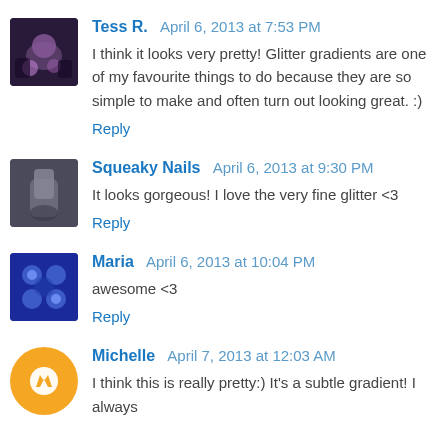Tess R. April 6, 2013 at 7:53 PM — I think it looks very pretty! Glitter gradients are one of my favourite things to do because they are so simple to make and often turn out looking great. :) — Reply
Squeaky Nails April 6, 2013 at 9:30 PM — It looks gorgeous! I love the very fine glitter <3 — Reply
Maria April 6, 2013 at 10:04 PM — awesome <3 — Reply
Michelle April 7, 2013 at 12:03 AM — I think this is really pretty:) It's a subtle gradient! I always